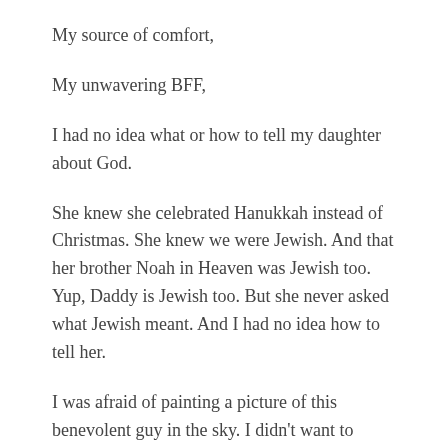My source of comfort,
My unwavering BFF,
I had no idea what or how to tell my daughter about God.
She knew she celebrated Hanukkah instead of Christmas. She knew we were Jewish. And that her brother Noah in Heaven was Jewish too. Yup, Daddy is Jewish too. But she never asked what Jewish meant. And I had no idea how to tell her.
I was afraid of painting a picture of this benevolent guy in the sky. I didn’t want to present God as always watching over us because for a young child, that could sound creepy. But I realized I was more